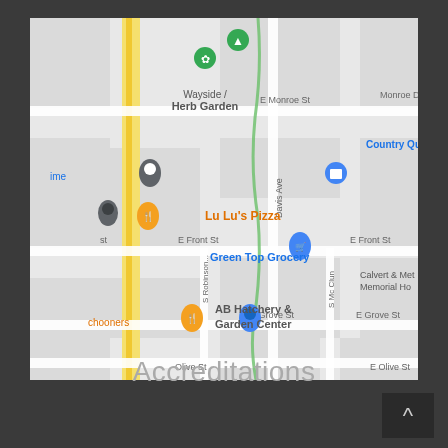[Figure (map): Google Maps street map showing an area with streets including E Monroe St, Monroe Dr, Davis Ave, E Front St, E Grove St, Olive St, S Robinson St, S Mc Clun. Landmarks include Wayside Herb Garden, Country Quilt Creations, Lu Lu's Pizza, Green Top Grocery, AB Hatchery & Garden Center, Calvert & Memorial Home, Schooners. Map pins shown in blue, orange, and green.]
Accreditations